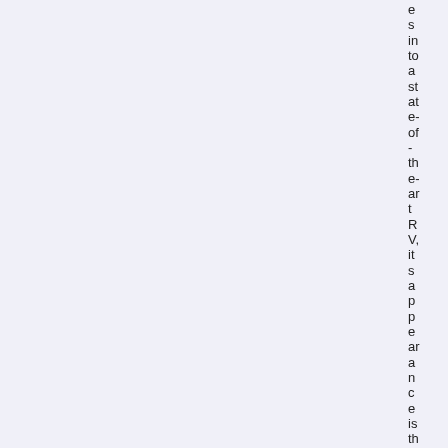es into a state-of-the-art RV, its appearance is the